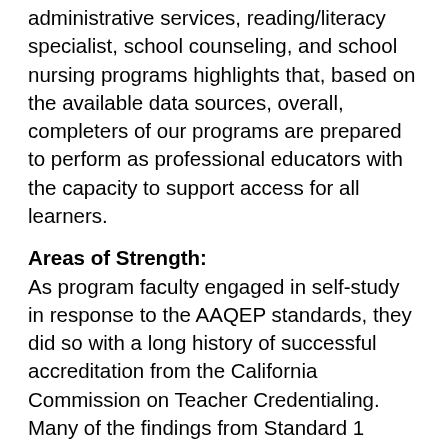administrative services, reading/literacy specialist, school counseling, and school nursing programs highlights that, based on the available data sources, overall, completers of our programs are prepared to perform as professional educators with the capacity to support access for all learners.
Areas of Strength:
As program faculty engaged in self-study in response to the AAQEP standards, they did so with a long history of successful accreditation from the California Commission on Teacher Credentialing. Many of the findings from Standard 1 confirmed that the strengths of the programs aligned with our School's mission and goals. In particular, given the high percentage of students in our region who are emergent bilinguals and the